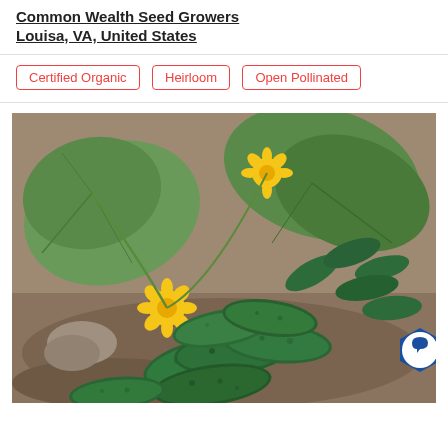Common Wealth Seed Growers
Louisa, VA, United States
Certified Organic
Heirloom
Open Pollinated
[Figure (photo): A cluster of dark green cucumbers gathered on sandy soil with large green leaves and yellow flowers in the background. A blue hexagonal chat badge icon is visible in the bottom right corner.]